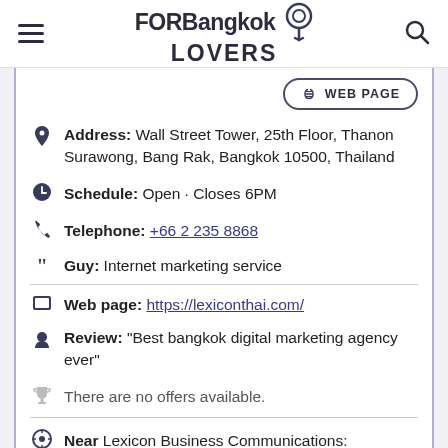FORBangkok LOVERS
WEB PAGE
Address: Wall Street Tower, 25th Floor, Thanon Surawong, Bang Rak, Bangkok 10500, Thailand
Schedule: Open · Closes 6PM
Telephone: +66 2 235 8868
Guy: Internet marketing service
Web page: https://lexiconthai.com/
Review: "Best bangkok digital marketing agency ever"
There are no offers available.
Near Lexicon Business Communications: